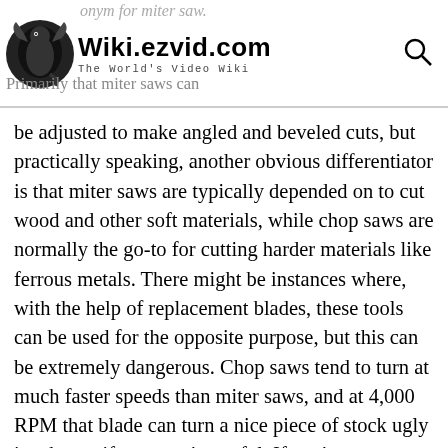Wiki.ezvid.com The World's Video Wiki
be adjusted to make angled and beveled cuts, but practically speaking, another obvious differentiator is that miter saws are typically depended on to cut wood and other soft materials, while chop saws are normally the go-to for cutting harder materials like ferrous metals. There might be instances where, with the help of replacement blades, these tools can be used for the opposite purpose, but this can be extremely dangerous. Chop saws tend to turn at much faster speeds than miter saws, and at 4,000 RPM that blade can turn a nice piece of stock ugly in a hurry, if you aren't careful. If you're considering trying to outfit your chop saw for woodworking, do your due diligence and make sure that its manual confirms it's a suitable use for the tool (also note that some cold-saw blades are suitable for cutting